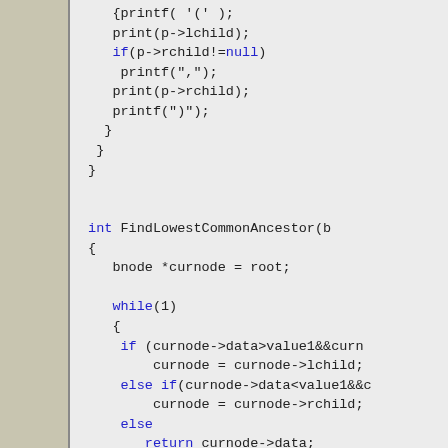Code snippet showing print function and FindLowestCommonAncestor function in C/C++